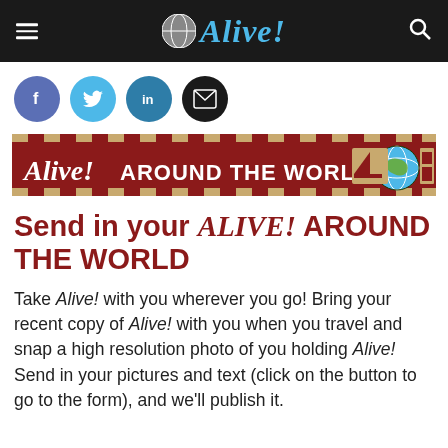Alive! (navigation bar with menu and search icons)
[Figure (logo): Social media share icons: Facebook (blue-purple circle with f), Twitter (light blue circle with bird), LinkedIn (teal circle with in), Email (black circle with envelope)]
[Figure (illustration): Alive! Around the World banner with dark red background, Alive! italic logo text in white, AROUND THE WORLD text in white, sailboat icon, globe icon, and building icon on right side]
Send in your ALIVE! AROUND THE WORLD
Take Alive! with you wherever you go! Bring your recent copy of Alive! with you when you travel and snap a high resolution photo of you holding Alive! Send in your pictures and text (click on the button to go to the form), and we'll publish it.